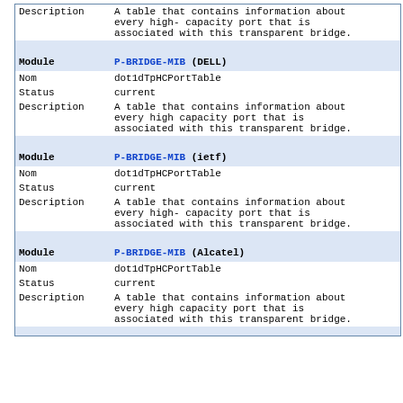| Field | Value |
| --- | --- |
| Description | A table that contains information about every high- capacity port that is associated with this transparent bridge. |
| Module | P-BRIDGE-MIB (DELL) |
| Nom | dot1dTpHCPortTable |
| Status | current |
| Description | A table that contains information about every high capacity port that is associated with this transparent bridge. |
| Module | P-BRIDGE-MIB (ietf) |
| Nom | dot1dTpHCPortTable |
| Status | current |
| Description | A table that contains information about every high- capacity port that is associated with this transparent bridge. |
| Module | P-BRIDGE-MIB (Alcatel) |
| Nom | dot1dTpHCPortTable |
| Status | current |
| Description | A table that contains information about every high capacity port that is associated with this transparent bridge. |